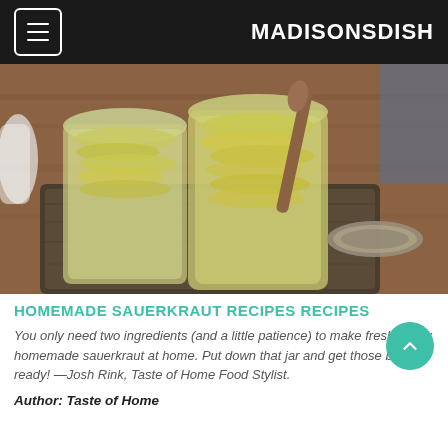MADISONSDISH
[Figure (photo): Two glass mason jars filled with homemade sauerkraut, one with a wooden spoon, sitting on a dark wooden cutting board with a jar lid nearby]
HOMEMADE SAUERKRAUT RECIPES RECIPES
You only need two ingredients (and a little patience) to make fresh, zippy homemade sauerkraut at home. Put down that jar and get those brats ready! —Josh Rink, Taste of Home Food Stylist.
Author: Taste of Home